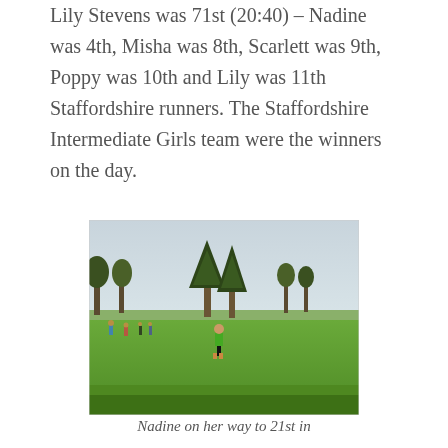Lily Stevens was 71st (20:40) – Nadine was 4th, Misha was 8th, Scarlett was 9th, Poppy was 10th and Lily was 11th Staffordshire runners. The Staffordshire Intermediate Girls team were the winners on the day.
[Figure (photo): A cross-country runner in a green and black kit running across a green grass field. Trees visible in the background under an overcast grey sky. Several other people visible in the background.]
Nadine on her way to 21st in